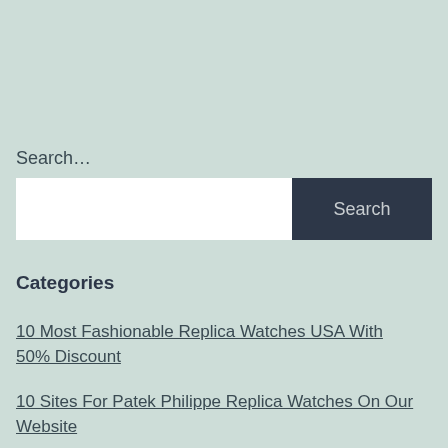Search…
[Figure (screenshot): Search input field with white background and a dark navy Search button on the right]
Categories
10 Most Fashionable Replica Watches USA With 50% Discount
10 Sites For Patek Philippe Replica Watches On Our Website